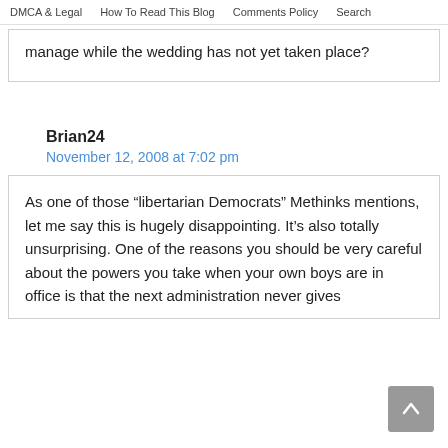DMCA & Legal   How To Read This Blog   Comments Policy   Search
manage while the wedding has not yet taken place?
Brian24
November 12, 2008 at 7:02 pm
As one of those “libertarian Democrats” Methinks mentions, let me say this is hugely disappointing. It’s also totally unsurprising. One of the reasons you should be very careful about the powers you take when your own boys are in office is that the next administration never gives